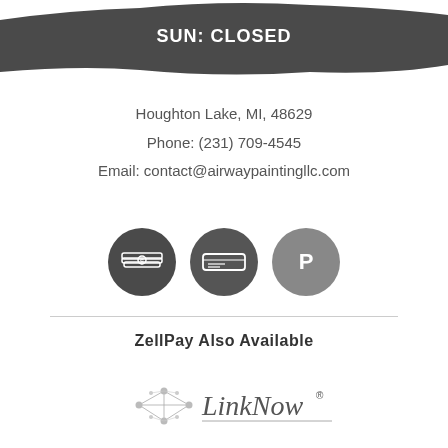SUN: CLOSED
Houghton Lake, MI, 48629
Phone: (231) 709-4545
Email: contact@airwaypaintingllc.com
[Figure (illustration): Three circular dark payment icons: cash/money, check/credit card, and PayPal logo]
ZellPay Also Available
[Figure (logo): LinkNow logo with network dots graphic and registered trademark symbol]